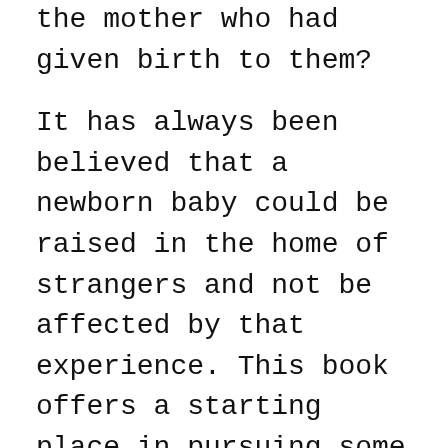the mother who had given birth to them?
It has always been believed that a newborn baby could be raised in the home of strangers and not be affected by that experience. This book offers a starting place in pursuing some of these answers.
Sandy Musser, author of I Would Have Searched Forever (1979, 2012), What Kind of I...